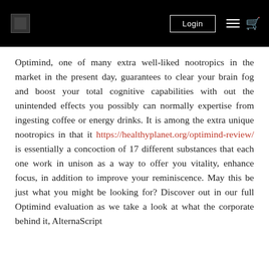Login
Optimind, one of many extra well-liked nootropics in the market in the present day, guarantees to clear your brain fog and boost your total cognitive capabilities with out the unintended effects you possibly can normally expertise from ingesting coffee or energy drinks. It is among the extra unique nootropics in that it https://healthyplanet.org/optimind-review/ is essentially a concoction of 17 different substances that each one work in unison as a way to offer you vitality, enhance focus, in addition to improve your reminiscence. May this be just what you might be looking for? Discover out in our full Optimind evaluation as we take a look at what the corporate behind it, AlternaScript